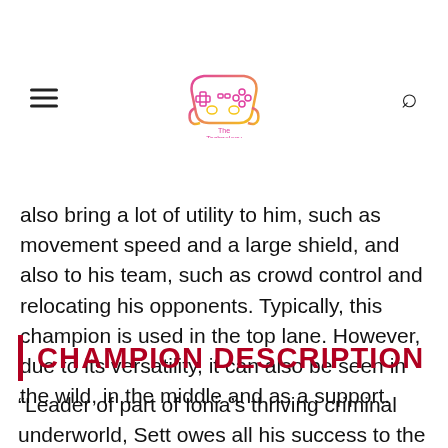The Technology Market
also bring a lot of utility to him, such as movement speed and a large shield, and also to his team, such as crowd control and relocating his opponents. Typically, this champion is used in the top lane. However, due to its versatility, it can also be seen in the wild, in the middle and as a support.
CHAMPION DESCRIPTION
“Leader of part of Ionia’s thriving criminal underworld, Sett owes all his success to the war against Noxus. Even debuting as a simple challenger in the combat arenas in Navori, he soon gained notoriety with his brute strength and ability to withstand continuous and extreme pain. Now,